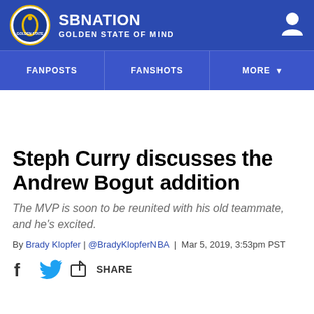SB NATION - GOLDEN STATE OF MIND
FANPOSTS | FANSHOTS | MORE
Steph Curry discusses the Andrew Bogut addition
The MVP is soon to be reunited with his old teammate, and he's excited.
By Brady Klopfer | @BradyKlopferNBA | Mar 5, 2019, 3:53pm PST
SHARE